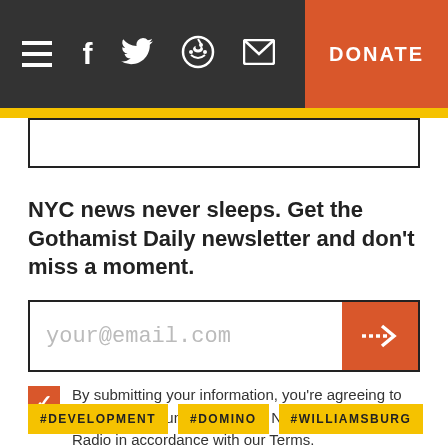Navigation bar with hamburger menu, social icons (Facebook, Twitter, Reddit, Email), and DONATE button
NYC news never sleeps. Get the Gothamist Daily newsletter and don't miss a moment.
your@email.com
By submitting your information, you're agreeing to receive communications from New York Public Radio in accordance with our Terms.
#DEVELOPMENT
#DOMINO
#WILLIAMSBURG